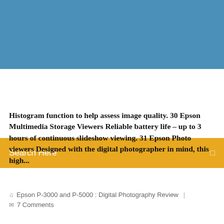[Figure (photo): Blue background header image area]
Search Here
Histogram function to help assess image quality. 30 Epson Multimedia Storage Viewers Reliable battery life – up to 3 hours of continuous slideshow viewing. 31 Epson Photo viewers Designed with the digital photographer in mind, this high...
Epson P-3000 and P-5000 : Digital Photography Review  |  7 Comments